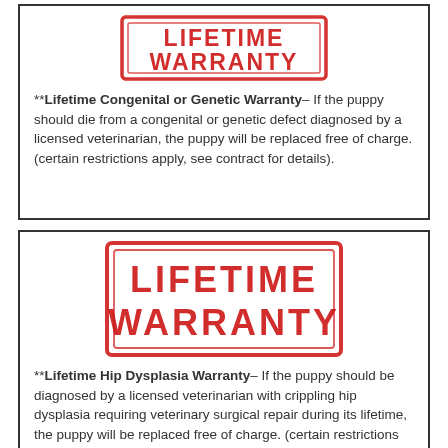[Figure (illustration): Red rubber stamp graphic reading LIFETIME WARRANTY in bold distressed text with a rectangular border]
**Lifetime Congenital or Genetic Warranty– If the puppy should die from a congenital or genetic defect diagnosed by a licensed veterinarian, the puppy will be replaced free of charge. (certain restrictions apply, see contract for details).
[Figure (illustration): Red rubber stamp graphic reading LIFETIME WARRANTY in bold distressed text with a rectangular border]
**Lifetime Hip Dysplasia Warranty– If the puppy should be diagnosed by a licensed veterinarian with crippling hip dysplasia requiring veterinary surgical repair during its lifetime, the puppy will be replaced free of charge. (certain restrictions apply,